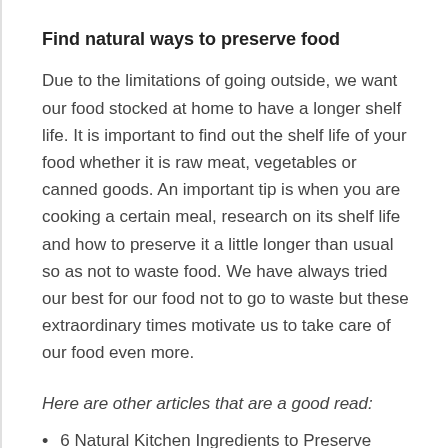Find natural ways to preserve food
Due to the limitations of going outside, we want our food stocked at home to have a longer shelf life. It is important to find out the shelf life of your food whether it is raw meat, vegetables or canned goods. An important tip is when you are cooking a certain meal, research on its shelf life and how to preserve it a little longer than usual so as not to waste food. We have always tried our best for our food not to go to waste but these extraordinary times motivate us to take care of our food even more.
Here are other articles that are a good read:
6 Natural Kitchen Ingredients to Preserve Food Without Using Food Additives by Sarika